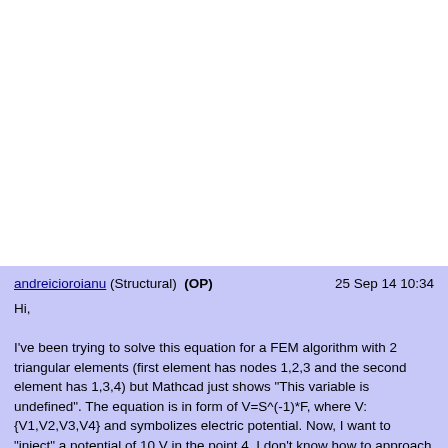andreicioroianu (Structural) (OP)   25 Sep 14 10:34

Hi,

I've been trying to solve this equation for a FEM algorithm with 2 triangular elements (first element has nodes 1,2,3 and the second element has 1,3,4) but Mathcad just shows "This variable is undefined". The equation is in form of V=S^(-1)*F, where V:{V1,V2,V3,V4} and symbolizes electric potential. Now, I want to "inject" a potential of 10 V in the point 4. I don't know how to approach this error because I cannot simply delete the last row (overdetermined system error)